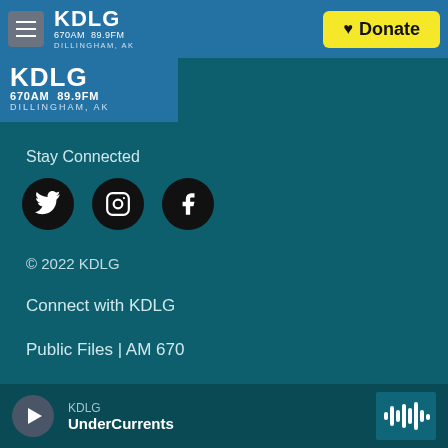KDLG 670AM 89.9FM DILLINGHAM, AK — Donate
[Figure (logo): KDLG radio station logo with text: KDLG, 670AM 89.9FM, DILLINGHAM, AK]
Stay Connected
[Figure (infographic): Three social media icons in black circles: Twitter (bird), Instagram (camera), Facebook (f)]
© 2022 KDLG
Connect with KDLG
Public Files | AM 670
Public Files | 89.9 FM
KDLG — UnderCurrents